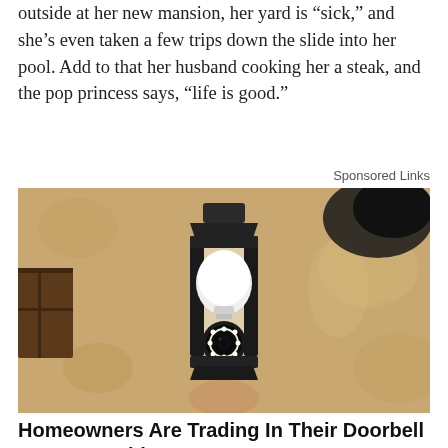outside at her new mansion, her yard is “sick,” and she’s even taken a few trips down the slide into her pool. Add to that her husband cooking her a steak, and the pop princess says, “life is good.”
Sponsored Links
[Figure (photo): A security camera disguised as a light bulb installed inside an outdoor wall lantern fixture mounted on a textured stucco wall.]
Homeowners Are Trading In Their Doorbell Cams For This